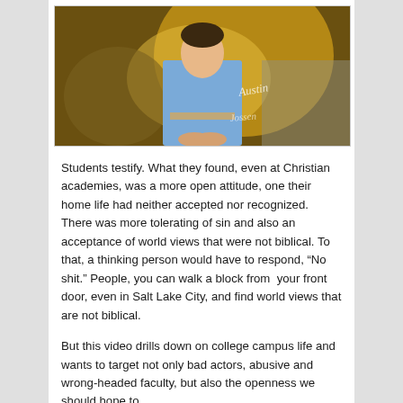[Figure (photo): A young man in a blue button-down shirt sitting in front of an ornate golden/amber decorative background with signatures overlaid on the image.]
Students testify. What they found, even at Christian academies, was a more open attitude, one their home life had neither accepted nor recognized. There was more tolerating of sin and also an acceptance of world views that were not biblical. To that, a thinking person would have to respond, “No shit.” People, you can walk a block from your front door, even in Salt Lake City, and find world views that are not biblical.
But this video drills down on college campus life and wants to target not only bad actors, abusive and wrong-headed faculty, but also the openness we should hope to